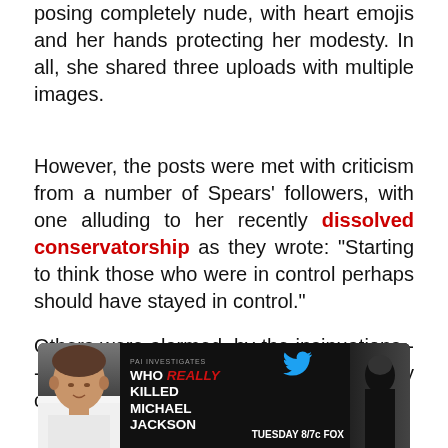posing completely nude, with heart emojis and her hands protecting her modesty. In all, she shared three uploads with multiple images.
However, the posts were met with criticism from a number of Spears' followers, with one alluding to her recently dissolved conservatorship as they wrote: "Starting to think those who were in control perhaps should have stayed in control."
Others were alarmed, by the insinuations -- "Anyone else here legitimately concerned?"
[Figure (screenshot): Advertisement banner: 'Who REALLY Killed Michael Jackson' - Tuesday 8/7c FOX, with Twitter bird icon and person photo]